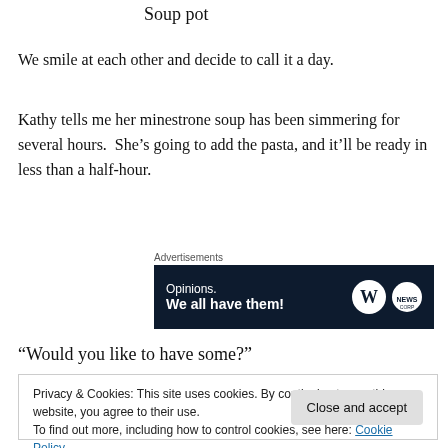Soup pot
We smile at each other and decide to call it a day.
Kathy tells me her minestrone soup has been simmering for several hours.  She’s going to add the pasta, and it’ll be ready in less than a half-hour.
[Figure (other): Advertisement banner with dark navy background. Text reads 'Opinions. We all have them!' with WordPress logo and another circular logo on the right.]
“Would you like to have some?”
Privacy & Cookies: This site uses cookies. By continuing to use this website, you agree to their use.
To find out more, including how to control cookies, see here: Cookie Policy
...and slurp down some of the best minestrone soup